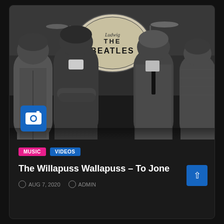[Figure (photo): Black and white photograph of four young men (resembling The Beatles) standing in front of a Ludwig drum kit with 'THE BEATLES' written on the bass drum head. The men are wearing suits and casual jackets. A blue camera icon badge is overlaid in the lower-left corner of the photo.]
MUSIC   VIDEOS
The Willapuss Wallapuss – To Jone
AUG 7, 2020   ADMIN